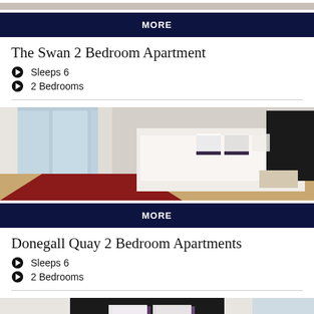[Figure (photo): Top of page - partial view of a bedroom apartment photo with a dark navy MORE button overlay at the bottom]
The Swan 2 Bedroom Apartment
Sleeps 6
2 Bedrooms
[Figure (photo): Bedroom photo showing a large bed with red runner, white bedding, black headboard, and large windows with city view]
Donegall Quay 2 Bedroom Apartments
Sleeps 6
2 Bedrooms
[Figure (photo): Partial bedroom photo at bottom of page showing white bed with dark headboard and purple pillows]